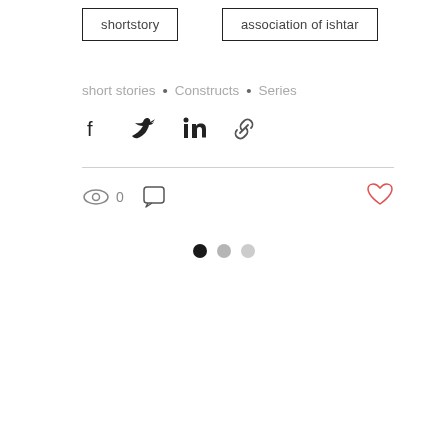shortstory
association of ishtar
short stories • Constructs • Series
[Figure (infographic): Social share icons row: Facebook, Twitter, LinkedIn, link/chain icon]
[Figure (infographic): Stats row: eye icon with count 0, speech bubble icon; heart/like icon on the right (red outline)]
[Figure (infographic): Pagination dots: three circles — first filled dark/black, second medium grey, third light grey]